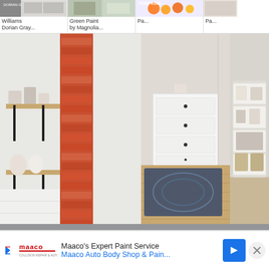[Figure (screenshot): Mobile app screenshot showing a Pinterest/image-search style interface with paint color inspiration. Top row shows thumbnail search results including 'Williams Dorian Gray...', 'Green Paint by Magnolia...', and a pumpkins image. Below is a photo collage of rooms painted in gray tones - floating wood shelves with brick accent wall, white dresser with blue patterned rug, and a white storage shelf unit. Below the photos is a gray banner with script text 'Paint Color:' and sans-serif text 'REPOSE GRAY' with number 89 and a chevron up button. Partially visible bottom section shows more room photos with a heart button, search button, and an advertisement bar for 'Maaco's Expert Paint Service - Maaco Auto Body Shop & Pain...' with the Maaco logo, blue arrow icon, and X close button.]